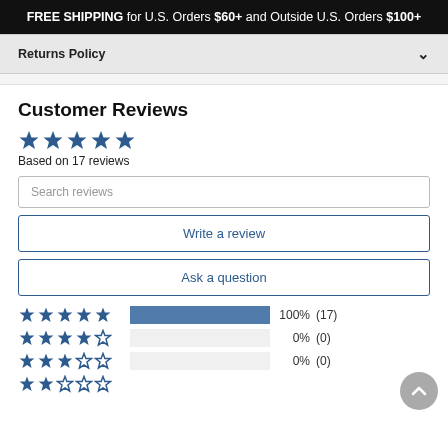FREE SHIPPING for U.S. Orders $60+ and Outside U.S. Orders $100+
Returns Policy
Customer Reviews
Based on 17 reviews
Search reviews
Write a review
Ask a question
[Figure (bar-chart): Star rating distribution]